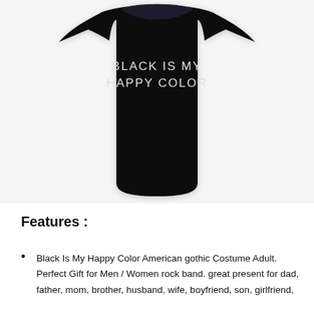[Figure (photo): A black tank top / muscle shirt with the text 'BLACK IS MY HAPPY COLOR' printed in white letters on the front, displayed against a white background.]
Features :
Black Is My Happy Color American gothic Costume Adult. Perfect Gift for Men / Women rock band. great present for dad, father, mom, brother, husband, wife, boyfriend, son, girlfriend,